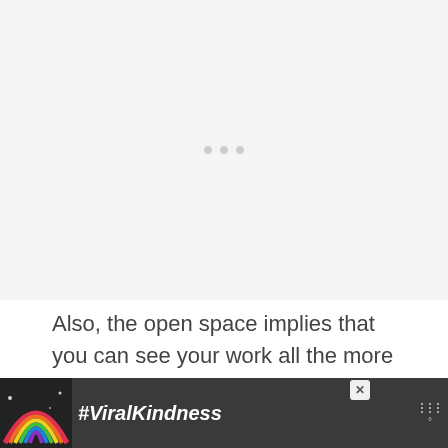[Figure (other): Advertisement placeholder area with light gray background and three small gray dots centered]
Also, the open space implies that you can see your work all the more effectively. Furthermore, it enables you to change the expendable blades the more effectively. In fact, with everything in clear see, you likewise get the opportunity to
[Figure (other): Orange circular scroll-to-top button with double chevron up arrow]
[Figure (other): Advertisement banner at bottom: rainbow illustration with #ViralKindness text on dark background, close X button, weather icon]